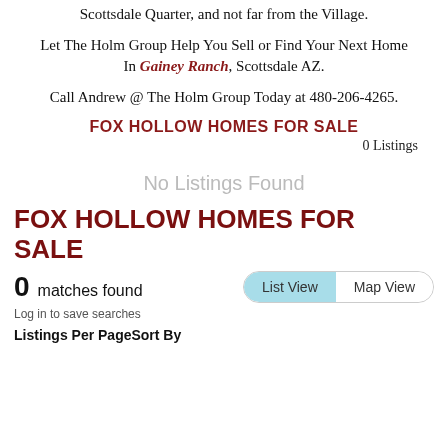Scottsdale Quarter, and not far from the Village.
Let The Holm Group Help You Sell or Find Your Next Home In Gainey Ranch, Scottsdale AZ.
Call Andrew @ The Holm Group Today at 480-206-4265.
FOX HOLLOW HOMES FOR SALE
0 Listings
No Listings Found
FOX HOLLOW HOMES FOR SALE
0  matches found
Log in to save searches
Listings Per PageSort By